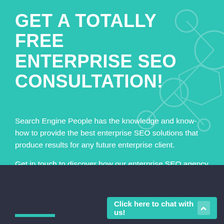GET A TOTALLY FREE ENTERPRISE SEO CONSULTATION!
Search Engine People has the knowledge and know-how to provide the best enterprise SEO solutions that produce results for any future enterprise client.
Get in touch to discover how our enterprise SEO agency can help your business.
Click here to chat with us!